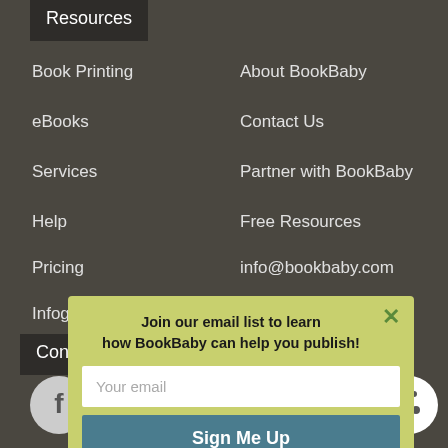Resources
Book Printing
About BookBaby
eBooks
Contact Us
Services
Partner with BookBaby
Help
Free Resources
Pricing
info@bookbaby.com
Infographic
1-877-961-6878
Conn
[Figure (logo): Facebook circular icon]
[Figure (logo): Cookie consent icon]
Join our email list to learn how BookBaby can help you publish!
Your email
Sign Me Up